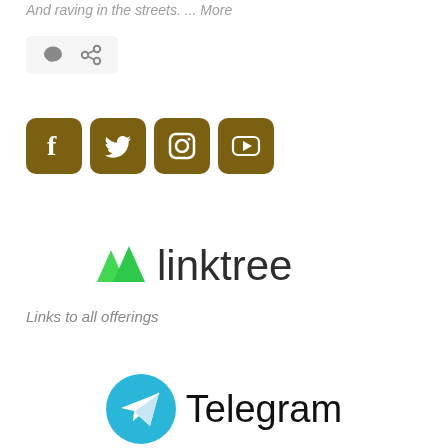And raving in the streets. ... More
[Figure (screenshot): Small icon bar with a speech bubble icon and a share/link icon on a light grey background]
[Figure (infographic): Four social media icons (Facebook, Twitter, Instagram, YouTube) with dark gold/olive square rounded backgrounds]
[Figure (logo): Linktree logo: two green triangle trees and the word 'linktree' in dark grey sans-serif]
Links to all offerings
[Figure (logo): Telegram logo: blue circle with white paper plane icon, and the word 'Telegram' in black]